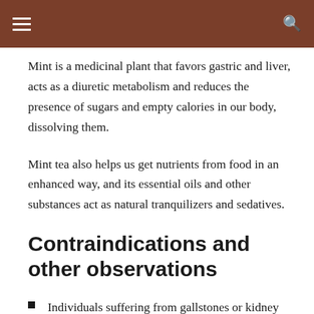Mint is a medicinal plant that favors gastric and liver, acts as a diuretic metabolism and reduces the presence of sugars and empty calories in our body, dissolving them.
Mint tea also helps us get nutrients from food in an enhanced way, and its essential oils and other substances act as natural tranquilizers and sedatives.
Contraindications and other observations
Individuals suffering from gallstones or kidney stones should avoid ingesting mint;
It is recommended to drink two cups of mint tea a day,